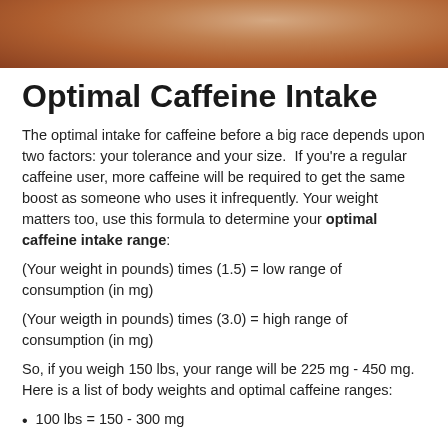[Figure (photo): Partial image of a person, showing skin/body, cropped at top of page]
Optimal Caffeine Intake
The optimal intake for caffeine before a big race depends upon two factors: your tolerance and your size.  If you're a regular caffeine user, more caffeine will be required to get the same boost as someone who uses it infrequently. Your weight matters too, use this formula to determine your optimal caffeine intake range:
(Your weight in pounds) times (1.5) = low range of consumption (in mg)
(Your weigth in pounds) times (3.0) = high range of consumption (in mg)
So, if you weigh 150 lbs, your range will be 225 mg - 450 mg.  Here is a list of body weights and optimal caffeine ranges:
100 lbs = 150 - 300 mg